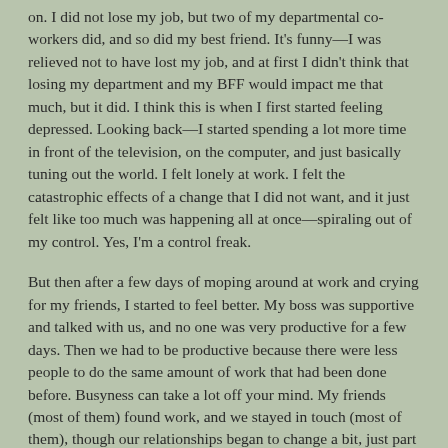on.  I did not lose my job, but two of my departmental co-workers did, and so did my best friend.  It's funny—I was relieved not to have lost my job, and at first I didn't think that losing my department and my BFF would impact me that much, but it did.  I think this is when I first started feeling depressed.  Looking back—I started spending a lot more time in front of the television, on the computer, and just basically tuning out the world.  I felt lonely at work.  I felt the catastrophic effects of a change that I did not want, and it just felt like too much was happening all at once—spiraling out of my control.  Yes, I'm a control freak.
But then after a few days of moping around at work and crying for my friends, I started to feel better.  My boss was supportive and talked with us, and no one was very productive for a few days.  Then we had to be productive because there were less people to do the same amount of work that had been done before.  Busyness can take a lot off your mind.   My friends (most of them) found work, and we stayed in touch (most of them), though our relationships began to change a bit, just part of life.